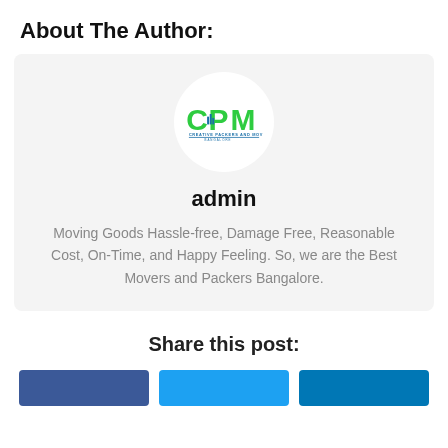About The Author:
[Figure (logo): CPM Creative Packers and Movers logo inside a white circle on a gray card background]
admin
Moving Goods Hassle-free, Damage Free, Reasonable Cost, On-Time, and Happy Feeling. So, we are the Best Movers and Packers Bangalore.
Share this post: